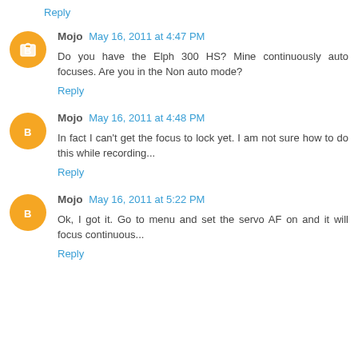Reply
Mojo May 16, 2011 at 4:47 PM
Do you have the Elph 300 HS? Mine continuously auto focuses. Are you in the Non auto mode?
Reply
Mojo May 16, 2011 at 4:48 PM
In fact I can't get the focus to lock yet. I am not sure how to do this while recording...
Reply
Mojo May 16, 2011 at 5:22 PM
Ok, I got it. Go to menu and set the servo AF on and it will focus continuous...
Reply